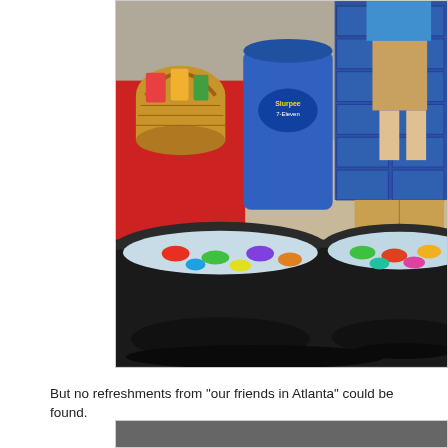[Figure (photo): Two large black tubs/buckets filled with ice and colorful cans of beverages, set up in what appears to be a warehouse store or event space. In the background there is a wicker basket on a red-clothed table, a blue trash can, stacked boxes of beverages, and a person in khaki shorts and blue shirt.]
But no refreshments from "our friends in Atlanta" could be found.
[Figure (photo): Bottom portion of another photograph, partially cropped.]